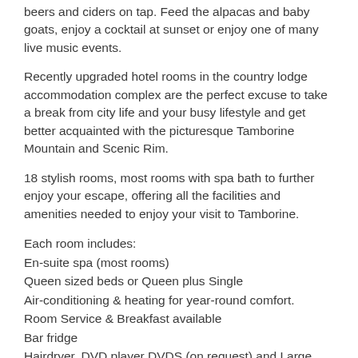beers and ciders on tap. Feed the alpacas and baby goats, enjoy a cocktail at sunset or enjoy one of many live music events.
Recently upgraded hotel rooms in the country lodge accommodation complex are the perfect excuse to take a break from city life and your busy lifestyle and get better acquainted with the picturesque Tamborine Mountain and Scenic Rim.
18 stylish rooms, most rooms with spa bath to further enjoy your escape, offering all the facilities and amenities needed to enjoy your visit to Tamborine.
Each room includes:
En-suite spa (most rooms)
Queen sized beds or Queen plus Single
Air-conditioning & heating for year-round comfort.
Room Service & Breakfast available
Bar fridge
Hairdryer, DVD player DVDS (on request) and Large Screen T.V